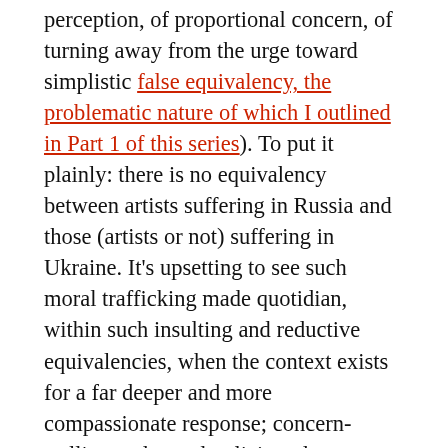perception, of proportional concern, of turning away from the urge toward simplistic false equivalency, the problematic nature of which I outlined in Part 1 of this series). To put it plainly: there is no equivalency between artists suffering in Russia and those (artists or not) suffering in Ukraine. It's upsetting to see such moral trafficking made quotidian, within such insulting and reductive equivalencies, when the context exists for a far deeper and more compassionate response; concern-trolling and moral policing plug up what should be open if extremely difficult discussions that must be had, in the classical world and elsewhere. It is equally vital to understand the ways in which the classical industry has, or is, or could be responding, most specifically within the context of post-pandemic